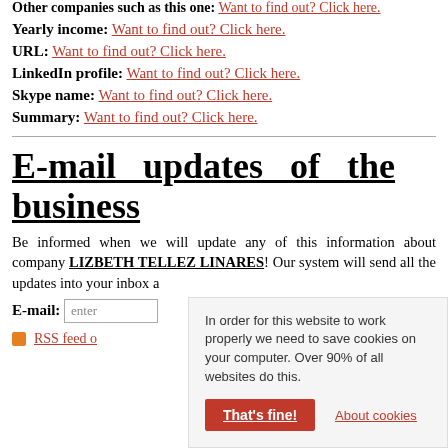Other companies such as this one: Want to find out? Click here.
Yearly income: Want to find out? Click here.
URL: Want to find out? Click here.
LinkedIn profile: Want to find out? Click here.
Skype name: Want to find out? Click here.
Summary: Want to find out? Click here.
E-mail updates of the business
Be informed when we will update any of this information about company LIZBETH TELLEZ LINARES! Our system will send all the updates into your inbox a[utomatically].
E-mail: enter [email]
RSS feed o[f...]
In order for this website to work properly we need to save cookies on your computer. Over 90% of all websites do this. [That's fine!] [About cookies]